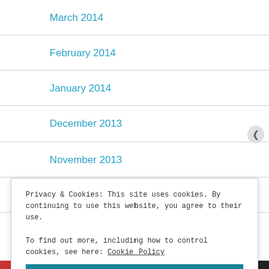March 2014
February 2014
January 2014
December 2013
November 2013
October 2013
Privacy & Cookies: This site uses cookies. By continuing to use this website, you agree to their use.
To find out more, including how to control cookies, see here: Cookie Policy
Close and accept